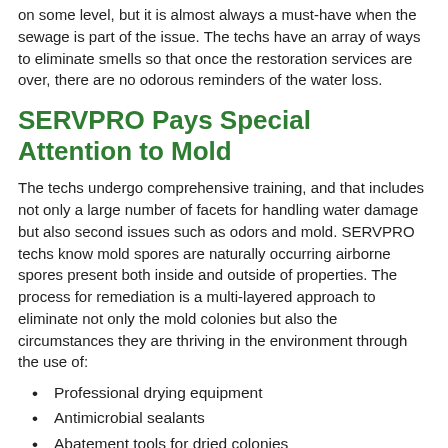on some level, but it is almost always a must-have when the sewage is part of the issue. The techs have an array of ways to eliminate smells so that once the restoration services are over, there are no odorous reminders of the water loss.
SERVPRO Pays Special Attention to Mold
The techs undergo comprehensive training, and that includes not only a large number of facets for handling water damage but also second issues such as odors and mold. SERVPRO techs know mold spores are naturally occurring airborne spores present both inside and outside of properties. The process for remediation is a multi-layered approach to eliminate not only the mold colonies but also the circumstances they are thriving in the environment through the use of:
Professional drying equipment
Antimicrobial sealants
Abatement tools for dried colonies
SERVPRO of Fort Lee at (201) 496-6024 has a broad array of extraction and drying equipment to handle water damage